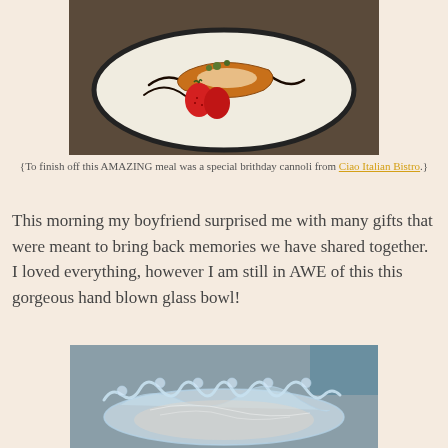[Figure (photo): A plate with a cannoli dessert topped with pistachios, accompanied by strawberries, with chocolate sauce on a white plate.]
{To finish off this AMAZING meal was a special brithday cannoli from Ciao Italian Bistro.}
This morning my boyfriend surprised me with many gifts that were meant to bring back memories we have shared together. I loved everything, however I am still in AWE of this this gorgeous hand blown glass bowl!
[Figure (photo): A clear hand blown glass bowl with ruffled decorative edges, sitting on a surface.]